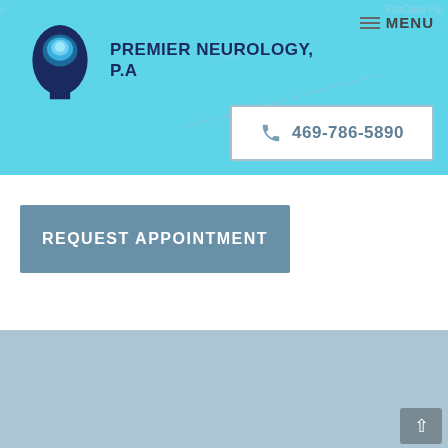[Figure (logo): Premier Neurology P.A. logo with brain/head silhouette icon and text]
MENU
[Figure (other): Phone call button with number 469-786-5890]
[Figure (other): REQUEST APPOINTMENT button]
[Figure (other): Footer menu icon (hamburger menu)]
Premier Neurology, Rockwall, TX
Phone (appointments): 469-786-5890 | Phone (general